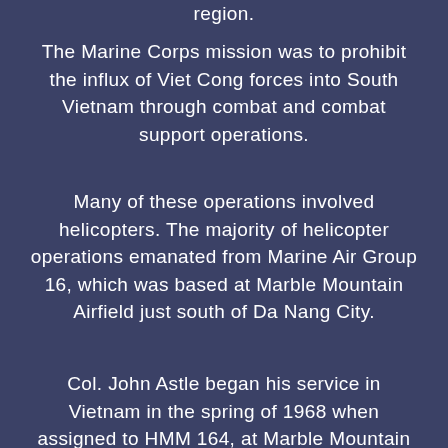region.
The Marine Corps mission was to prohibit the influx of Viet Cong forces into South Vietnam through combat and combat support operations.
Many of these operations involved helicopters. The majority of helicopter operations emanated from Marine Air Group 16, which was based at Marble Mountain Airfield just south of Da Nang City.
Col. John Astle began his service in Vietnam in the spring of 1968 when assigned to HMM 164, at Marble Mountain Airfield. John and I had met at MC Air Station, New River prior to